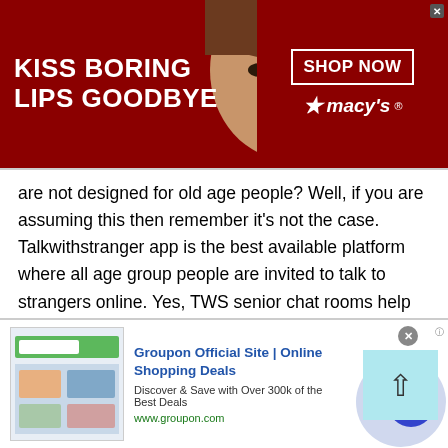[Figure (other): Macy's advertisement banner: woman with red lips on dark red background. Text: 'KISS BORING LIPS GOODBYE' with 'SHOP NOW' button and Macy's star logo.]
are not designed for old age people? Well, if you are assuming this then remember it's not the case. Talkwithstranger app is the best available platform where all age group people are invited to talk to strangers online. Yes, TWS senior chat rooms help people of age around 50 or above 50. They can enjoy talking to strangers in United States Minor Outlying Islands or other countries and find their desired partners.
[Figure (other): Groupon advertisement: 'Groupon Official Site | Online Shopping Deals. Discover & Save with Over 300k of the Best Deals. www.groupon.com']